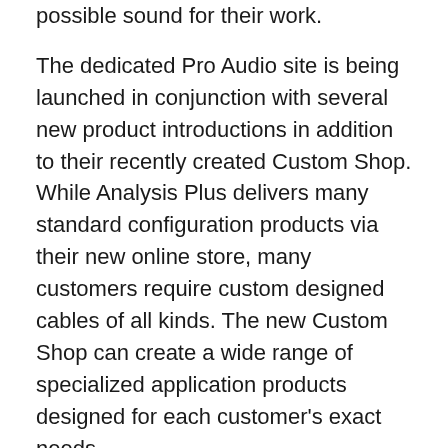possible sound for their work.
The dedicated Pro Audio site is being launched in conjunction with several new product introductions in addition to their recently created Custom Shop. While Analysis Plus delivers many standard configuration products via their new online store, many customers require custom designed cables of all kinds. The new Custom Shop can create a wide range of specialized application products designed for each customer's exact needs.
You can see the extraordinary Analysis Plus product line in person at Winter NAMM in Anaheim, July 16-19 in Booth 5052.
See the new web platform and get more information today at: https://proaudio.analysis.plus
About Analysis Plus